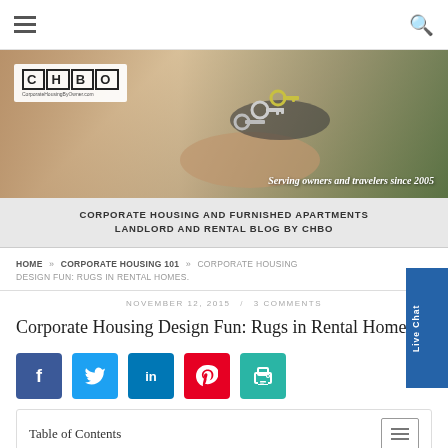CHBO — Corporate Housing By Owner navigation bar with hamburger menu and search icon
[Figure (photo): Banner image showing hands exchanging keys, with CHBO logo top-left and tagline 'Serving owners and travelers since 2005' bottom-right]
CORPORATE HOUSING AND FURNISHED APARTMENTS LANDLORD AND RENTAL BLOG BY CHBO
HOME » CORPORATE HOUSING 101 » CORPORATE HOUSING DESIGN FUN: RUGS IN RENTAL HOMES.
NOVEMBER 12, 2015 / 3 COMMENTS
Corporate Housing Design Fun: Rugs in Rental Homes
[Figure (infographic): Social sharing buttons: Facebook (blue), Twitter (light blue), LinkedIn (dark blue), Pinterest (red), Print (teal)]
Table of Contents